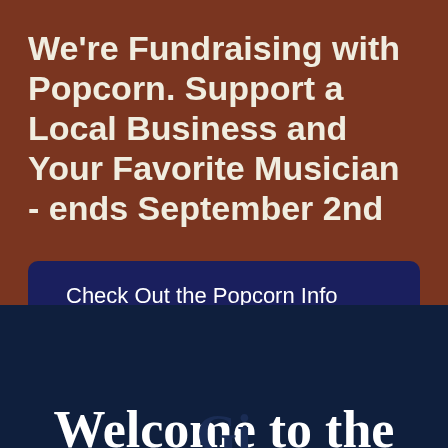We're Fundraising with Popcorn. Support a Local Business and Your Favorite Musician - ends September 2nd
Check Out the Popcorn Info Here
Welcome to the